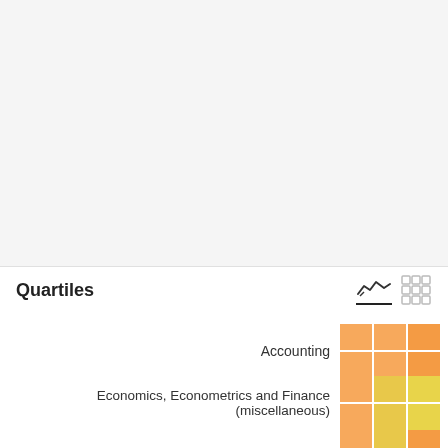[Figure (other): Large empty grey area at top of page, part of a larger chart that is cropped]
Quartiles
[Figure (table-as-image): Quartile grid showing colored blocks for Accounting and Economics, Econometrics and Finance (miscellaneous) categories with orange and yellow cells representing quartile rankings]
Accounting
Economics, Econometrics and Finance (miscellaneous)